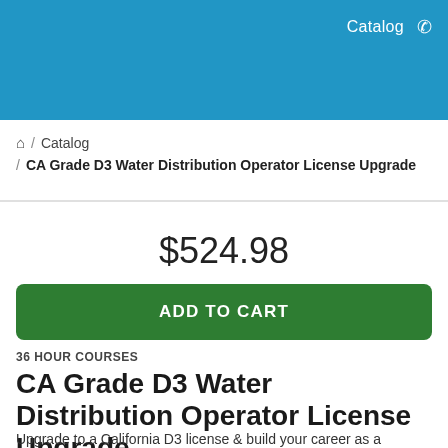Catalog
🏠 / Catalog
/ CA Grade D3 Water Distribution Operator License Upgrade
$524.98
ADD TO CART
36 HOUR COURSES
CA Grade D3 Water Distribution Operator License Upgrade
Upgrade to a California D3 license & build your career as a